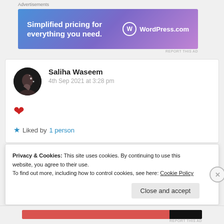Advertisements
[Figure (illustration): WordPress.com advertisement banner with gradient blue-purple background, text 'Simplified pricing for everything you need.' and WordPress.com logo]
REPORT THIS AD
[Figure (photo): Avatar photo of Saliha Waseem — a dark circular profile picture]
Saliha Waseem
4th Sep 2021 at 3:28 pm
❤
Liked by 1 person
Privacy & Cookies: This site uses cookies. By continuing to use this website, you agree to their use.
To find out more, including how to control cookies, see here: Cookie Policy
Close and accept